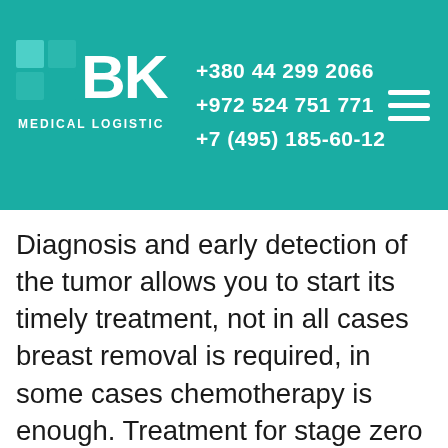[Figure (logo): BK Medical Logistic logo with teal background, phone numbers +380 44 299 2066, +972 524 751 771, +7 (495) 185-60-12 and hamburger menu icon]
Diagnosis and early detection of the tumor allows you to start its timely treatment, not in all cases breast removal is required, in some cases chemotherapy is enough. Treatment for stage zero breast cancer is 90 percent successful. To detect oncology at this stage and start treatment for breast cancer on time, you need to undergo a special examination called mammography. To do this, use a special apparatus similar